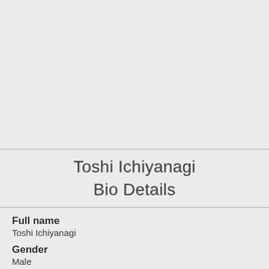Toshi Ichiyanagi Bio Details
Full name
Toshi Ichiyanagi
Gender
Male
Age
85